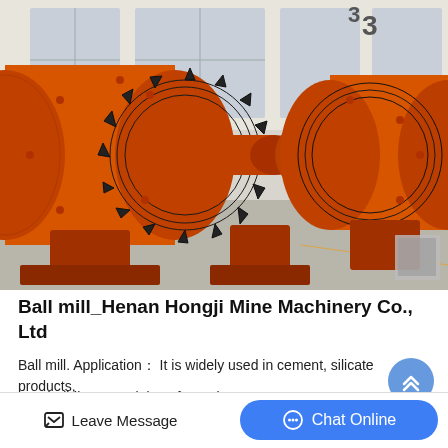[Figure (photo): Industrial orange ball mill machines (grinding mills) with large gear rings, photographed in a factory/warehouse setting with grey concrete floor and white industrial windows in background. Two orange cylindrical ball mills are visible side by side.]
Ball mill_Henan Hongji Mine Machinery Co., Ltd
Ball mill. Application： It is widely used in cement, silicate products,